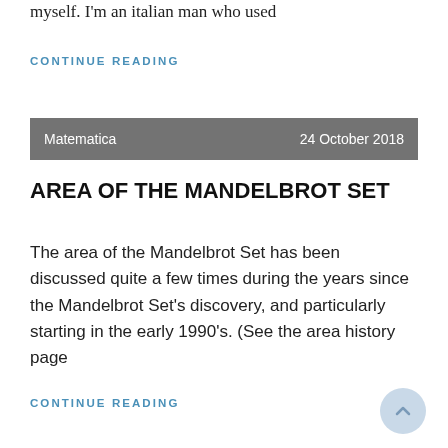myself. I'm an italian man who used
CONTINUE READING
Matematica    24 October 2018
AREA OF THE MANDELBROT SET
The area of the Mandelbrot Set has been discussed quite a few times during the years since the Mandelbrot Set's discovery, and particularly starting in the early 1990's. (See the area history page
CONTINUE READING